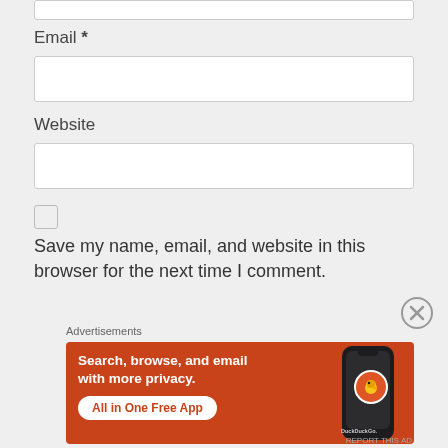Email *
Website
Save my name, email, and website in this browser for the next time I comment.
Advertisements
[Figure (illustration): DuckDuckGo advertisement banner with orange background showing 'Search, browse, and email with more privacy. All in One Free App' text and a phone image with DuckDuckGo logo]